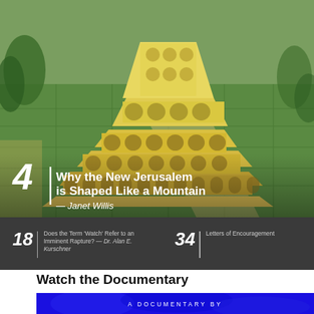[Figure (illustration): Artistic illustration of the New Jerusalem depicted as a massive stepped/terraced golden temple structure rising above green agricultural fields laid out in a grid pattern, viewed from an aerial perspective. The building appears pyramid-like with multiple levels, arched windows, and golden coloring.]
4 | Why the New Jerusalem is Shaped Like a Mountain — Janet Willis
18 | Does the Term 'Watch' Refer to an Imminent Rapture? — Dr. Alan E. Kurschner
34 | Letters of Encouragement
Watch the Documentary
[Figure (screenshot): Blue documentary banner image with the text 'A DOCUMENTARY BY' visible in white spaced letters against a deep blue abstract background.]